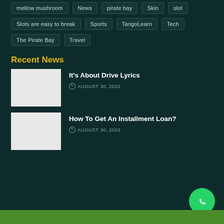mellow mushroom
News
pirate bay
Skin
slot
Slots are easy to break
Sports
TangoLearn
Tech
The Pirate Bay
Travel
Recent News
It's About Drive Lyrics
AUGUST 30, 2022
How To Get An Installment Loan?
AUGUST 30, 2022